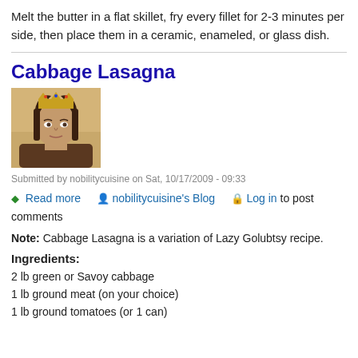Melt the butter in a flat skillet, fry every fillet for 2-3 minutes per side, then place them in a ceramic, enameled, or glass dish.
Cabbage Lasagna
[Figure (photo): Portrait painting of a medieval king wearing a gold crown, dark hair, against a golden-brown background]
Submitted by nobilitycuisine on Sat, 10/17/2009 - 09:33
Read more   nobilitycuisine's Blog   Log in to post comments
Note: Cabbage Lasagna is a variation of Lazy Golubtsy recipe.
Ingredients:
2 lb green or Savoy cabbage
1 lb ground meat (on your choice)
1 lb ground tomatoes (or 1 can)